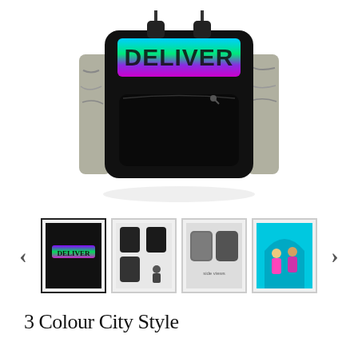[Figure (photo): Close-up product photo of a black backpack with a large colorful gradient logo (blue to green) on the front pocket, shown against a white background.]
[Figure (photo): Thumbnail 1 (selected): Front view of the black backpack with colorful 3-colour gradient text logo, selected thumbnail with black border.]
[Figure (photo): Thumbnail 2: Multiple angle collage of the black backpack showing front, back, and side views plus a small figure wearing it.]
[Figure (photo): Thumbnail 3: Side and back views of the backpack laid flat, showing grey camouflage pattern side panels.]
[Figure (photo): Thumbnail 4: Lifestyle photo with cyan/blue background showing two people, one wearing a pink/magenta backpack version.]
3 Colour City Style